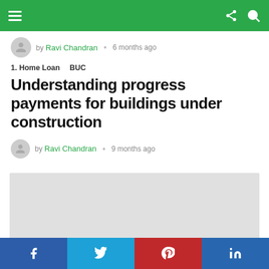Navigation bar with menu, share, and search icons
by Ravi Chandran · 6 months ago
1. Home Loan   BUC
Understanding progress payments for buildings under construction
by Ravi Chandran · 9 months ago
[Figure (photo): Gray placeholder image for article thumbnail]
Social share bar: Facebook, Twitter, Pinterest, LinkedIn